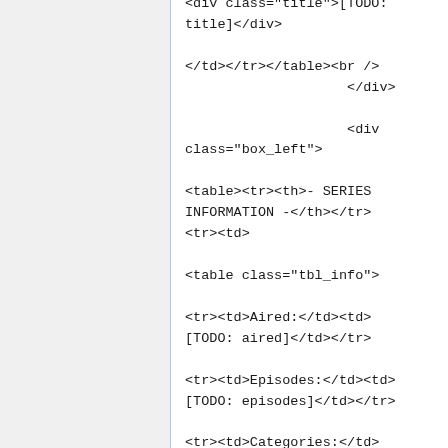<div class="title">[TODO: title]</div>

</td></tr></table><br />
                    </div>

                    <div class="box_left">

<table><tr><th>- SERIES INFORMATION -</th></tr><tr><td>

<table class="tbl_info">

<tr><td>Aired:</td><td>[TODO: aired]</td></tr>

<tr><td>Episodes:</td><td>[TODO: episodes]</td></tr>

<tr><td>Categories:</td><td>[TODO: categories]</td></tr>